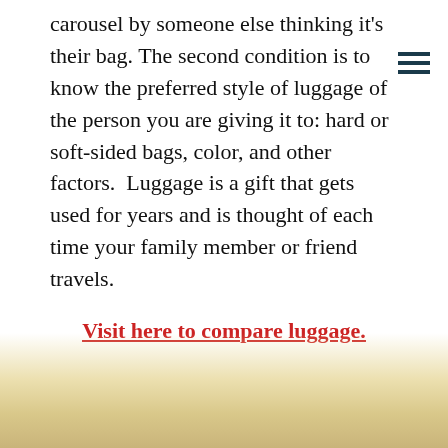carousel by someone else thinking it's their bag. The second condition is to know the preferred style of luggage of the person you are giving it to: hard or soft-sided bags, color, and other factors.  Luggage is a gift that gets used for years and is thought of each time your family member or friend travels.
Visit here to compare luggage.
[Figure (photo): Blurred bottom portion of page showing a warm golden/tan colored blurred image, likely luggage or travel-related photo]